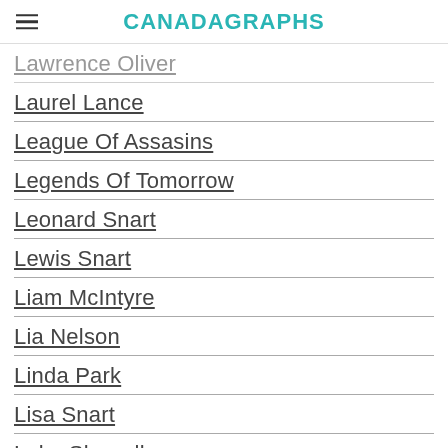CANADAGRAPHS
Lawrence Oliver
Laurel Lance
League Of Assasins
Legends Of Tomorrow
Leonard Snart
Lewis Snart
Liam McIntyre
Lia Nelson
Linda Park
Lisa Snart
Luke Skywalker
Machete
Malese Jow
Mark Hamill
Mark Rory